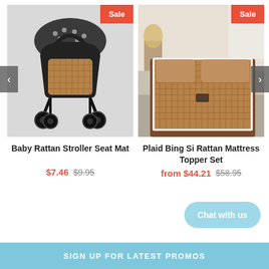[Figure (photo): Baby Rattan Stroller Seat Mat product photo showing a black baby stroller with brown rattan seat mat, with a red Sale badge in the top right corner]
Baby Rattan Stroller Seat Mat
$7.46  $9.95
[Figure (photo): Plaid Bing Si Rattan Mattress Topper Set product photo showing a brown rattan mattress topper on a bed in a bedroom setting, with a red Sale badge in the top right corner]
Plaid Bing Si Rattan Mattress Topper Set
from $44.21  $58.95
Chat with us
SIGN UP FOR LATEST PROMOS